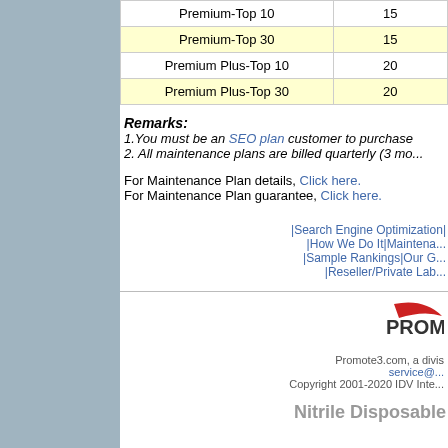| Plan | Value |
| --- | --- |
| Premium-Top 10 | 15 |
| Premium-Top 30 | 15 |
| Premium Plus-Top 10 | 20 |
| Premium Plus-Top 30 | 20 |
Remarks: 1.You must be an SEO plan customer to purchase 2. All maintenance plans are billed quarterly (3 mo...
For Maintenance Plan details, Click here. For Maintenance Plan guarantee, Click here.
|Search Engine Optimization| |How We Do It|Maintena... |Sample Rankings|Our G... |Reseller/Private Lab...
[Figure (logo): Promote3.com logo with red swoosh]
Promote3.com, a divis service@ Copyright 2001-2020 IDV Inte...
Nitrile Disposable